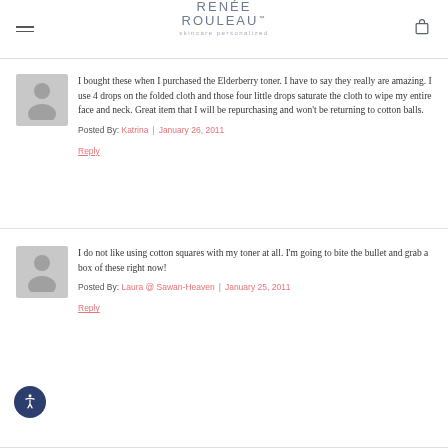RENÉE ROULEAU™ skincare personalized
I bought these when I purchased the Elderberry toner. I have to say they really are amazing. I use 4 drops on the folded cloth and those four little drops saturate the cloth to wipe my entire face and neck. Great item that I will be repurchasing and won't be returning to cotton balls.
Posted By: Katrina | January 26, 2011
Reply
I do not like using cotton squares with my toner at all. I'm going to bite the bullet and grab a box of these right now!
Posted By: Laura @ Sawan-Heaven | January 25, 2011
Reply